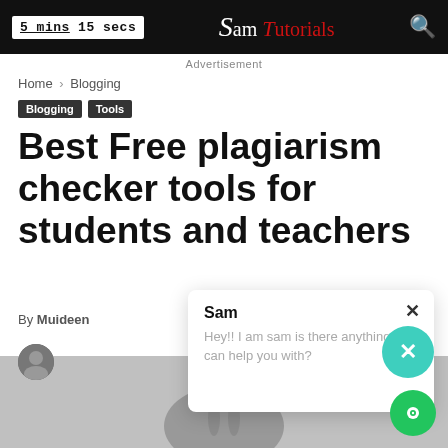5 mins 15 secs | Sam Tutorials
Advertisement
Home › Blogging
Blogging  Tools
Best Free plagiarism checker tools for students and teachers
By Muideen
Sam
Hey!! I am sam is there anything i can help you with?
[Figure (photo): Black and white photo of a woman with braided hair and glasses, sitting at a desk looking thoughtful]